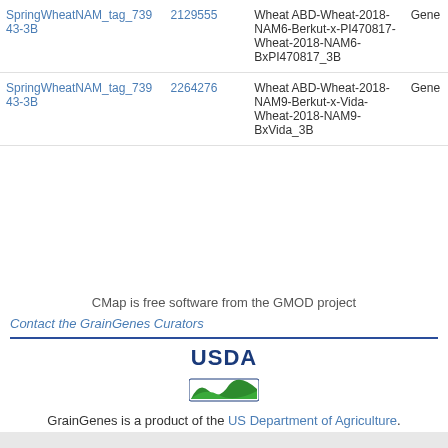| Feature | Position | Map | Type |
| --- | --- | --- | --- |
| SpringWheatNAM_tag_73943-3B | 2129555 | Wheat ABD-Wheat-2018-NAM6-Berkut-x-PI470817-Wheat-2018-NAM6-BxPI470817_3B | Gene |
| SpringWheatNAM_tag_73943-3B | 2264276 | Wheat ABD-Wheat-2018-NAM9-Berkut-x-Vida-Wheat-2018-NAM9-BxVida_3B | Gene |
CMap is free software from the GMOD project
Contact the GrainGenes Curators
[Figure (logo): USDA logo with text and green field icon]
GrainGenes is a product of the US Department of Agriculture.